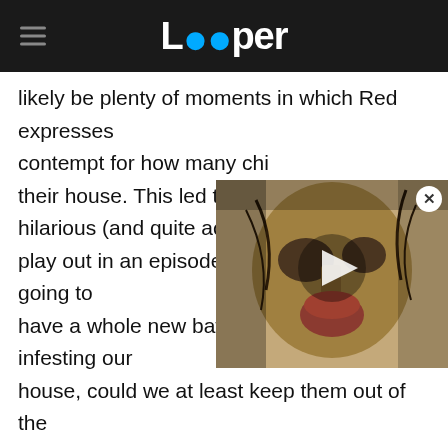Looper
likely be plenty of moments in which Red expresses contempt for how many chil their house. This led to u/M hilarious (and quite accurate play out in an episode: "Red: Kitty, if we're going to have a whole new batch of dumba**es infesting our house, could we at least keep them out of the basement this time?' Kitty: 'Well, fine then, Red, where would you like them? In the kitchen [where] we eat our food? In the living where we watch TV? Or, I know, how about in the garage! With the car! Wouldn't that be fun!' Red: '...' *cut to Red in the basement with the kids* Red: 'So here's the
[Figure (screenshot): Video thumbnail showing a masked horror-like figure with a play button overlay, partially covering the article text]